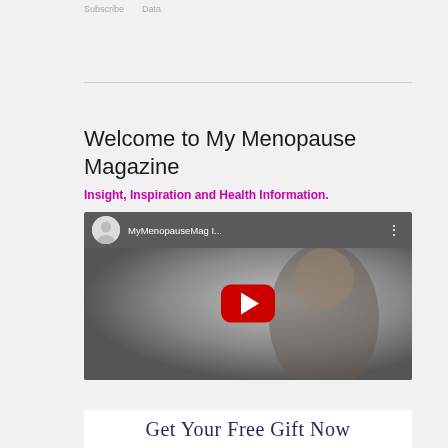Subscribe   Data
Welcome to My Menopause Magazine
Insight, Inspiration and Health Information.
[Figure (screenshot): YouTube video thumbnail showing a man in a light shirt with YouTube play button overlay. Video title reads 'MyMenopauseMag I...']
Get Your Free Gift Now